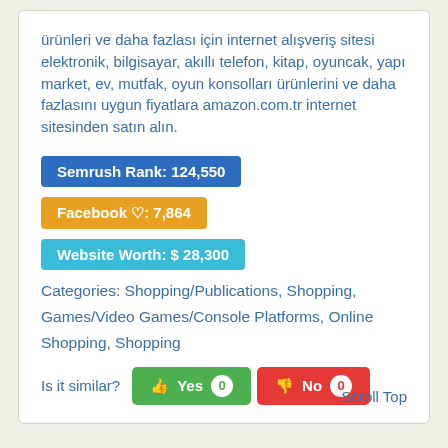ürünleri ve daha fazlası için internet alışveriş sitesi elektronik, bilgisayar, akıllı telefon, kitap, oyuncak, yapı market, ev, mutfak, oyun konsolları ürünlerini ve daha fazlasını uygun fiyatlara amazon.com.tr internet sitesinden satın alın.
Semrush Rank: 124,550
Facebook ♡: 7,864
Website Worth: $ 28,300
Categories: Shopping/Publications, Shopping, Games/Video Games/Console Platforms, Online Shopping, Shopping
Is it similar? Yes 0  No 0  Scroll Top